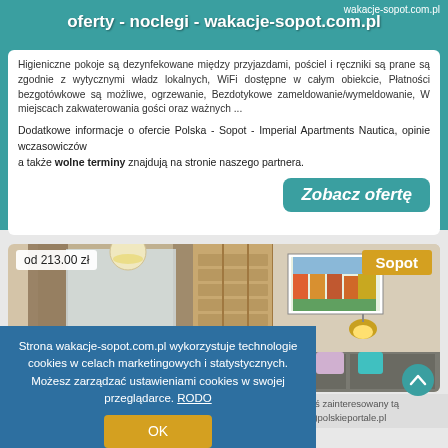wakacje-sopot.com.pl
oferty - noclegi - wakacje-sopot.com.pl
Higieniczne pokoje są dezynfekowane między przyjazdami, pościel i ręczniki są prane są zgodnie z wytycznymi władz lokalnych, WiFi dostępne w całym obiekcie, Płatności bezgotówkowe są możliwe, ogrzewanie, Bezdotykowe zameldowanie/wymeldowanie, W miejscach zakwaterowania gości oraz ważnych ...
Dodatkowe informacje o ofercie Polska - Sopot - Imperial Apartments Nautica, opinie wczasowiczów
a także wolne terminy znajdują na stronie naszego partnera.
Zobacz ofertę
[Figure (photo): Interior photo of an apartment with a bookshelf, window with curtains, a colorful painting, wall lamp, and grey sofa with pillows. Price tag: od 213.00 zł, location tag: Sopot]
Strona wakacje-sopot.com.pl wykorzystuje technologie cookies w celach marketingowych i statystycznych. Możesz zarządzać ustawieniami cookies w swojej przeglądarce. RODO
OK
Poszukujesz miejsca na artykuł sponsorowany z linkiem? Jesteś zainteresowany tą domeną wakacje-sopot.com.pl? Napisz -> domeny2022(at)polskieportale.pl
© 2017-2022 PolskiePortale.pl